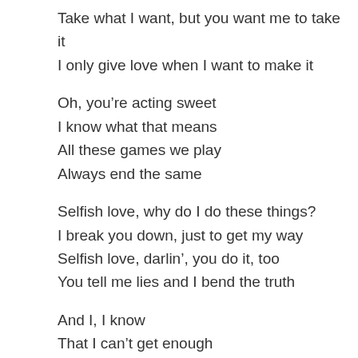Take what I want, but you want me to take it
I only give love when I want to make it
Oh, you’re acting sweet
I know what that means
All these games we play
Always end the same
Selfish love, why do I do these things?
I break you down, just to get my way
Selfish love, darlin’, you do it, too
You tell me lies and I bend the truth
And I, I know
That I can’t get enough
Selfish love
Selfish love